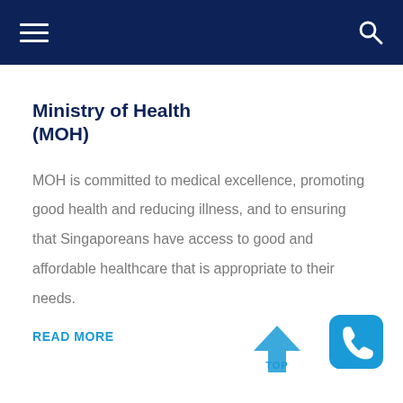Navigation bar with hamburger menu and search icon
Ministry of Health (MOH)
MOH is committed to medical excellence, promoting good health and reducing illness, and to ensuring that Singaporeans have access to good and affordable healthcare that is appropriate to their needs.
READ MORE
[Figure (illustration): Back to top arrow button with 'TOP' label in blue]
[Figure (illustration): Phone/contact chat button icon in blue]